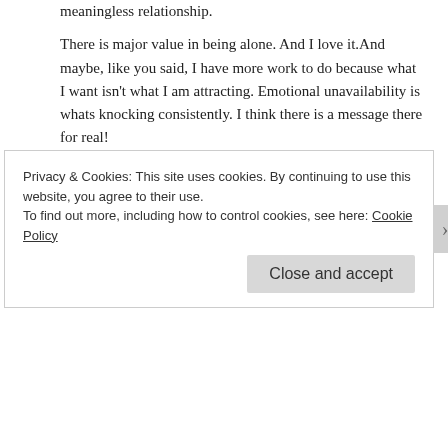meaningless relationship.
There is major value in being alone. And I love it.And maybe, like you said, I have more work to do because what I want isn't what I am attracting. Emotional unavailability is whats knocking consistently. I think there is a message there for real!
Thank you for your comment! It was well received and right on time! Sorry for the lengthy reply. lol
Liked by 1 person
V. , November 8, 2015 at 10:11 pm
Privacy & Cookies: This site uses cookies. By continuing to use this website, you agree to their use.
To find out more, including how to control cookies, see here: Cookie Policy
Close and accept